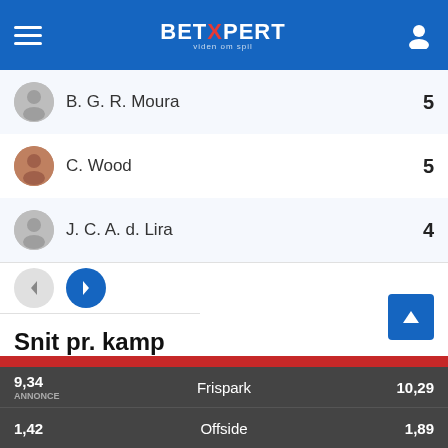BetXpert
B. G. R. Moura   5
C. Wood   5
J. C. A. d. Lira   4
Snit pr. kamp
| Norwich |  | Newcastle |
| --- | --- | --- |
| 9,34 | Frispark | 10,29 |
| 1,42 | Offside | 1,89 |
BetXpert anvender cookies. Ved at bruge denne hjemmeside accepterer du at vi placerer cookies på din computer. På dette website anvendes også affiliate links. Læs mere om vores privatlivspolitik. Accepter cookies